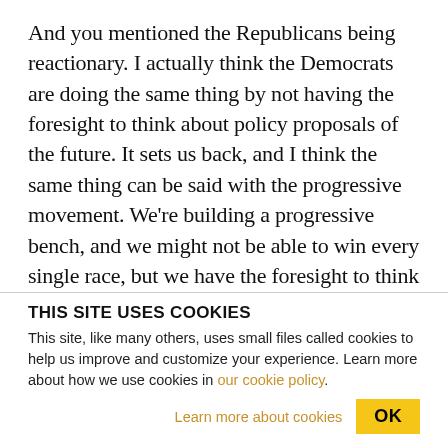And you mentioned the Republicans being reactionary. I actually think the Democrats are doing the same thing by not having the foresight to think about policy proposals of the future. It sets us back, and I think the same thing can be said with the progressive movement. We're building a progressive bench, and we might not be able to win every single race, but we have the foresight to think of policy initiatives, like a jobs guarantee that's even getting support amongst Republicans, because people just
THIS SITE USES COOKIES
This site, like many others, uses small files called cookies to help us improve and customize your experience. Learn more about how we use cookies in our cookie policy.
Learn more about cookies    OK